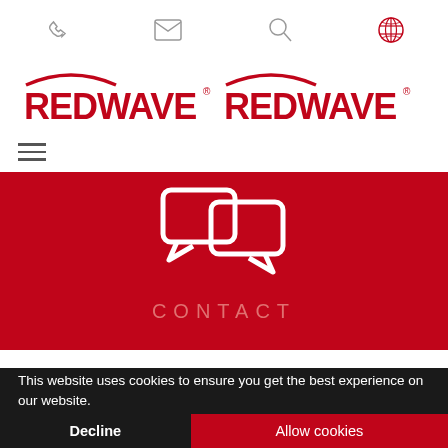[Figure (screenshot): Top navigation bar with phone, mail, search, and globe icons in grey on white background]
[Figure (logo): REDWAVE logo repeated twice in red with arc above, on white background]
[Figure (other): Hamburger menu icon (three horizontal lines) on white background]
[Figure (other): Red hero section with white chat bubble icon and CONTACT text in light red/pink letters]
This website uses cookies to ensure you get the best experience on our website.
Decline
Allow cookies